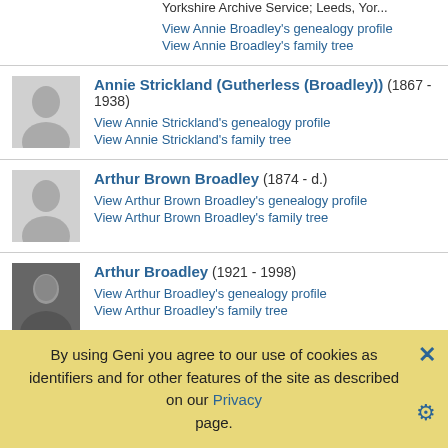Ancestry.com. Ancestry.com Operations, Inc. 2,225,613 West Yorkshire Archive Service; Leeds, Yor...
View Annie Broadley's genealogy profile
View Annie Broadley's family tree
Annie Strickland (Gutherless (Broadley)) (1867 - 1938)
View Annie Strickland's genealogy profile
View Annie Strickland's family tree
Arthur Brown Broadley (1874 - d.)
View Arthur Brown Broadley's genealogy profile
View Arthur Brown Broadley's family tree
Arthur Broadley (1921 - 1998)
View Arthur Broadley's genealogy profile
View Arthur Broadley's family tree
Arthur George Broadley (1895 - 1983)
Immigration 1897 1900 - Mississippi Township, Sacramento
By using Geni you agree to our use of cookies as identifiers and for other features of the site as described on our Privacy page.